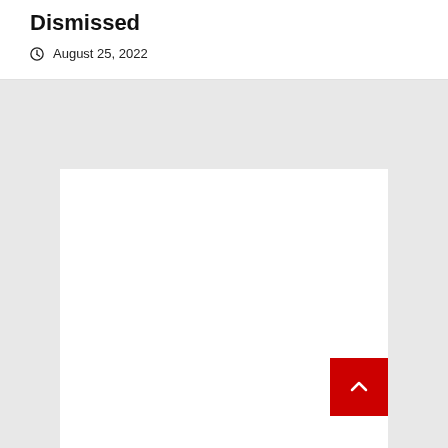Dismissed
August 25, 2022
[Figure (other): Back to top button - red square with white chevron arrow pointing up]